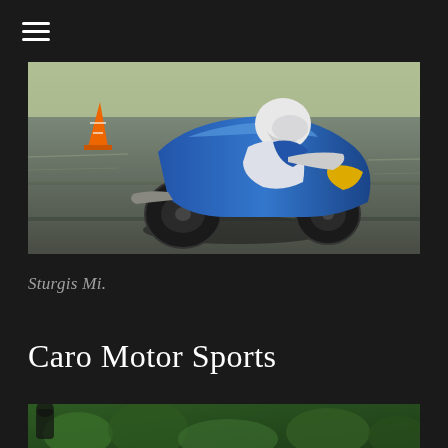≡ (hamburger menu icon)
[Figure (photo): A motorcycle racer on a blue sport bike leaning into a turn on a racing track. The rider wears a white helmet and blue/white/yellow racing leathers. An orange cone is visible. The image has a motion-blur effect on the background suggesting high speed.]
Sturgis Mi.
Caro Motor Sports
[Figure (photo): Bottom portion of another image showing foliage/greenery, partially visible at the bottom of the page.]